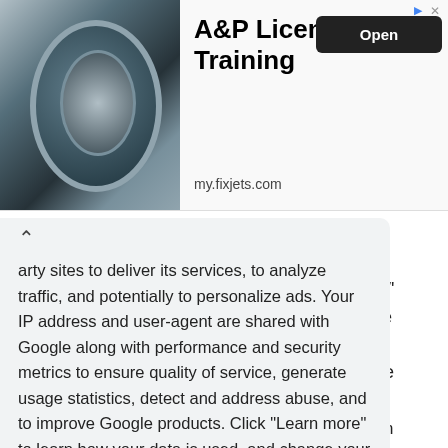[Figure (photo): Advertisement banner showing a jet engine with two technicians, for A&P License Training at my.fixjets.com with an Open button]
arty sites to deliver its services, to analyze traffic, and potentially to personalize ads. Your IP address and user-agent are shared with Google along with performance and security metrics to ensure quality of service, generate usage statistics, detect and address abuse, and to improve Google products. Click "Learn more" to learn how your data is used, and change your cookie and privacy settings. By using this site, you agree to its use of cookies and other data.
Learn more
Got it!
use
ed
es W'
since
ons'
move
en I
hat
;) and
d. If I
proceed with this, will the video + subscribers from